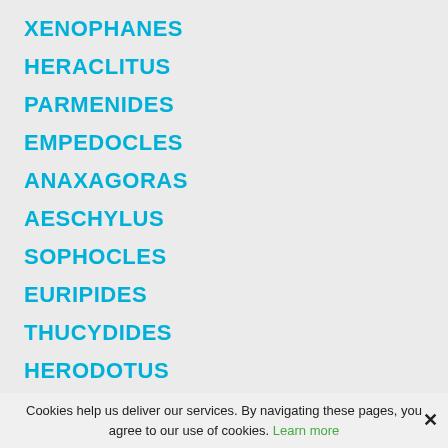XENOPHANES
HERACLITUS
PARMENIDES
EMPEDOCLES
ANAXAGORAS
AESCHYLUS
SOPHOCLES
EURIPIDES
THUCYDIDES
HERODOTUS
ARISTOPHANES
PLATO
Cookies help us deliver our services. By navigating these pages, you agree to our use of cookies. Learn more